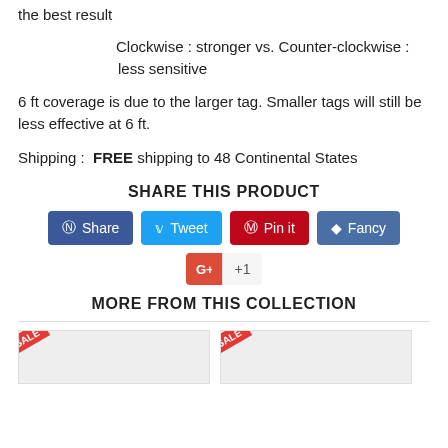the best result
Clockwise : stronger vs. Counter-clockwise : less sensitive
6 ft coverage is due to the larger tag. Smaller tags will still be less effective at 6 ft.
Shipping :  FREE shipping to 48 Continental States
SHARE THIS PRODUCT
[Figure (infographic): Social share buttons: Share (Facebook), Tweet (Twitter), Pin it (Pinterest), Fancy, and Google +1]
MORE FROM THIS COLLECTION
[Figure (photo): Product thumbnail images with sale badges]